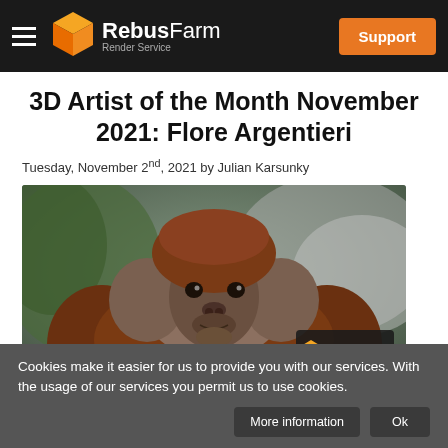RebusFarm Render Service | Support
3D Artist of the Month November 2021: Flore Argentieri
Tuesday, November 2nd, 2021 by Julian Karsunky
[Figure (photo): A photorealistic 3D render of an orangutan looking upward, with lush green background. A RebusFarm branded award badge is visible in the lower right corner.]
Cookies make it easier for us to provide you with our services. With the usage of our services you permit us to use cookies.